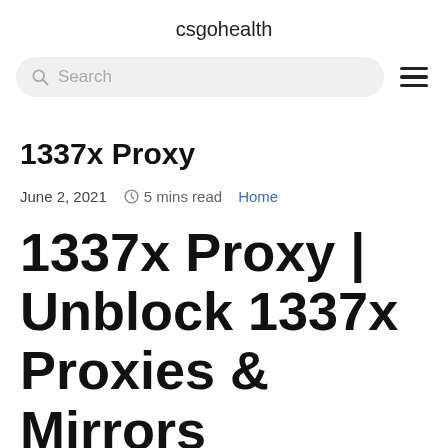csgohealth
Search
1337x Proxy
June 2, 2021   5 mins read   Home
1337x Proxy | Unblock 1337x Proxies & Mirrors